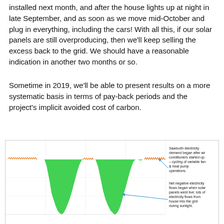installed next month, and after the house lights up at night in late September, and as soon as we move mid-October and plug in everything, including the cars! With all this, if our solar panels are still overproducing, then we'll keep selling the excess back to the grid. We should have a reasonable indication in another two months or so.
Sometime in 2019, we'll be able to present results on a more systematic basis in terms of pay-back periods and the project's implicit avoided cost of carbon.
[Figure (continuous-plot): Time-series energy flow chart showing sawtooth electricity demand pattern (orange spikes at top) and large green dips representing net negative electricity flows (solar overproduction periods). Two annotations: 'Sawtooth electricity demand began after air conditioners started up – cycling of variable fan & heat pump operations.' and 'Net negative electricity flows began when solar panels went live: lots of electricity flows from house into the grid during sunlight.']